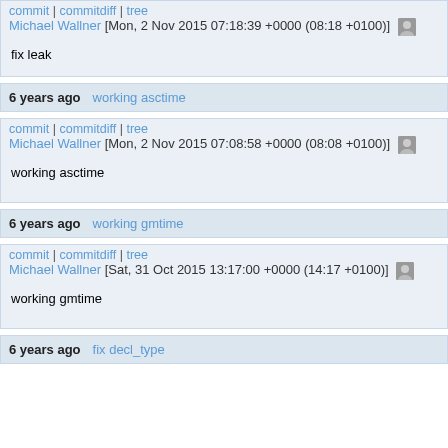commit | commitdiff | tree
Michael Wallner [Mon, 2 Nov 2015 07:18:39 +0000 (08:18 +0100)]
fix leak
6 years ago   working asctime
commit | commitdiff | tree
Michael Wallner [Mon, 2 Nov 2015 07:08:58 +0000 (08:08 +0100)]
working asctime
6 years ago   working gmtime
commit | commitdiff | tree
Michael Wallner [Sat, 31 Oct 2015 13:17:00 +0000 (14:17 +0100)]
working gmtime
6 years ago   fix decl_type